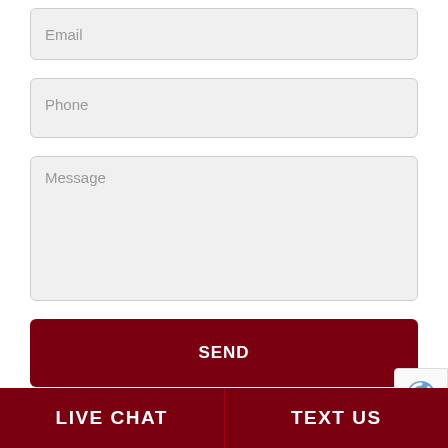Email
Phone
Message
SEND
Practice Areas
LIVE CHAT
TEXT US